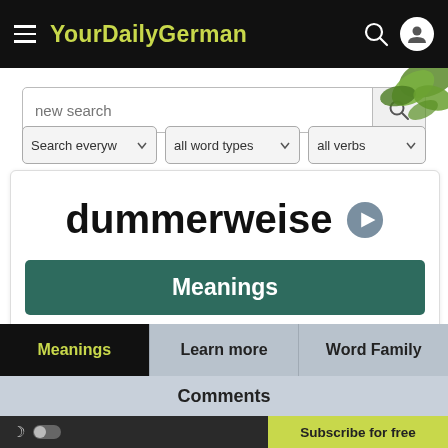YourDailyGerman
[Figure (screenshot): Search bar with placeholder 'new search' and search icon button]
[Figure (screenshot): Filter dropdowns: 'Search everyw', 'all word types', 'all verbs']
dummerweise
Meanings
Meanings
Learn more
Word Family
Comments
Subscribe for free